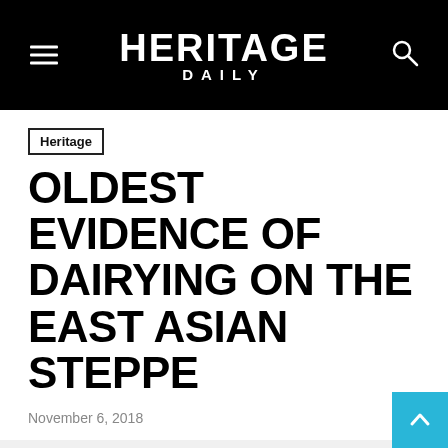HERITAGE DAILY
Heritage
OLDEST EVIDENCE OF DAIRYING ON THE EAST ASIAN STEPPE
November 6, 2018
[Figure (photo): Gray placeholder image area below the article header]